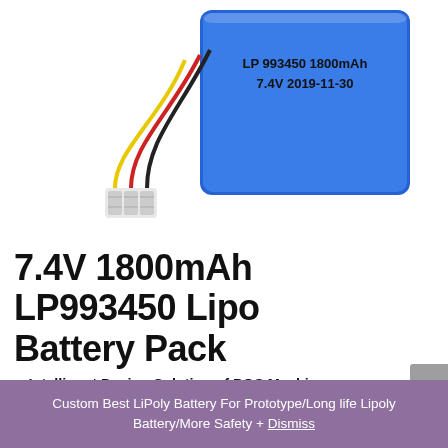[Figure (photo): Product photo of a blue rectangular LiPo battery pack (LP 993450 1800mAh, 7.4V, 2019-11-30) with a multi-wire connector cable (yellow, red, black wires) and white JST-style plug, shown against a white background.]
7.4V 1800mAh LP993450 Lipo Battery Pack
—Intelligent Design Solution of POS Machine
The Intelligent battery pack of the handheld device is perfectly matched with the POS machine, and the protection of the lithium ion battery embodies a reasonable, efficient and safe battery management solution. In the design
Custom Best LiPoly Battery For Prototype/Long life Lipoly Battery/More Safety + Dismiss